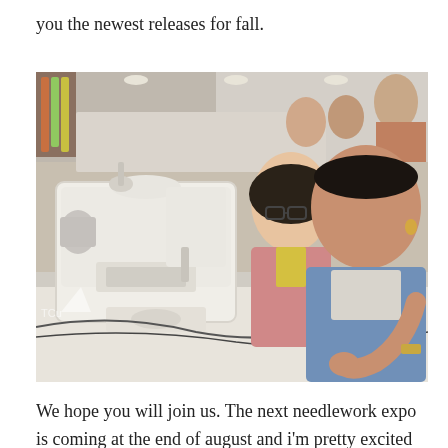you the newest releases for fall.
[Figure (photo): Two women sitting at a table with a white sewing machine in a convention hall or expo setting. One woman wearing glasses and a pink cardigan is watching, while another woman in a denim jacket is threading or using the sewing machine. The background shows an exhibition hall with people and displays.]
We hope you will join us. The next needlework expo is coming at the end of august and i'm pretty excited about